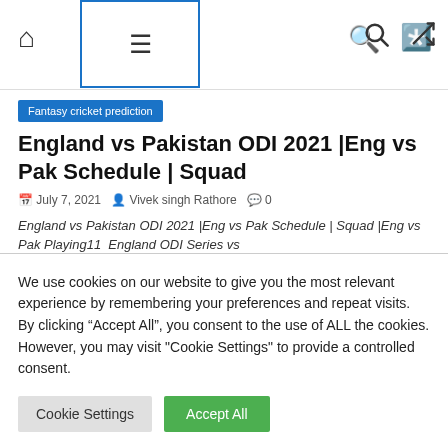Home | Menu | Search | Shuffle
Fantasy cricket prediction
England vs Pakistan ODI 2021 |Eng vs Pak Schedule | Squad
July 7, 2021  Vivek singh Rathore  0
England vs Pakistan ODI 2021 |Eng vs Pak Schedule | Squad |Eng vs Pak Playing11  England ODI Series vs
We use cookies on our website to give you the most relevant experience by remembering your preferences and repeat visits. By clicking “Accept All”, you consent to the use of ALL the cookies. However, you may visit "Cookie Settings" to provide a controlled consent.
Cookie Settings  Accept All